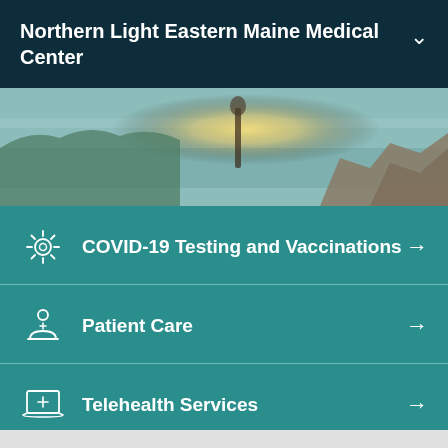Northern Light Eastern Maine Medical Center
[Figure (photo): Scenic outdoor photo showing a person near a rocky Maine coastline with water and sunlight in the background.]
COVID-19 Testing and Vaccinations
Patient Care
Telehealth Services
Digital Thank You Board